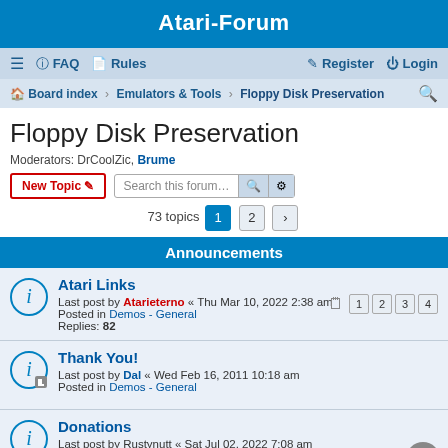Atari-Forum
≡  FAQ  Rules    Register  Login
Board index › Emulators & Tools › Floppy Disk Preservation
Floppy Disk Preservation
Moderators: DrCoolZic, Brume
New Topic   Search this forum…   73 topics  1  2  >
Announcements
Atari Links
Last post by Atarieterno « Thu Mar 10, 2022 2:38 am
Posted in Demos - General
Replies: 82
Pages: 1 2 3 4
Thank You!
Last post by Dal « Wed Feb 16, 2011 10:18 am
Posted in Demos - General
Donations
Last post by Rustynutt « Sat Jul 02, 2022 7:08 am
Posted in Demos - General
Replies: 96
Pages: 1 2 3 4